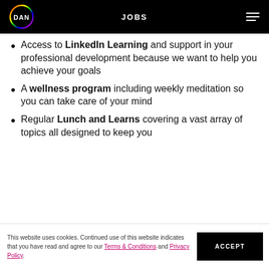JOBS
Access to LinkedIn Learning and support in your professional development because we want to help you achieve your goals
A wellness program including weekly meditation so you can take care of your mind
Regular Lunch and Learns covering a vast array of topics all designed to keep you informed and...
This website uses cookies. Continued use of this website indicates that you have read and agree to our Terms & Conditions and Privacy Policy.